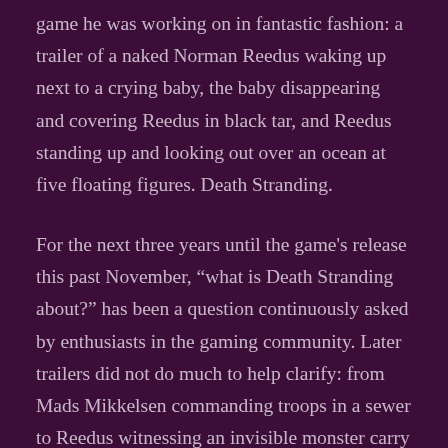game he was working on in fantastic fashion: a trailer of a naked Norman Reedus waking up next to a crying baby, the baby disappearing and covering Reedus in black tar, and Reedus standing up and looking out over an ocean at five floating figures. Death Stranding.
For the next three years until the game's release this past November, “what is Death Stranding about?” has been a question continuously asked by enthusiasts in the gaming community. Later trailers did not do much to help clarify: from Mads Mikkelsen commanding troops in a sewer to Reedus witnessing an invisible monster carry another person away, the point and plot of the game was shrouded in complete mystery.